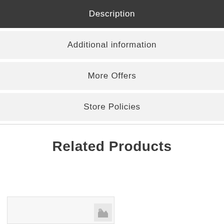Description
Additional information
More Offers
Store Policies
Related Products
[Figure (photo): Partial product thumbnail image at bottom left]